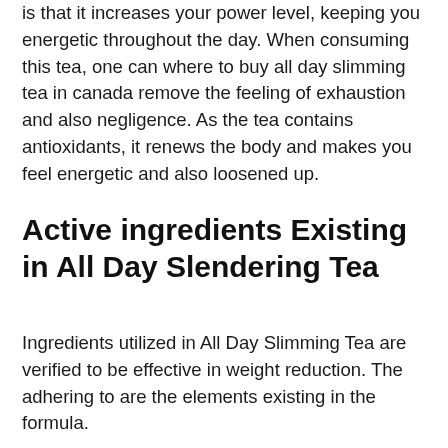is that it increases your power level, keeping you energetic throughout the day. When consuming this tea, one can where to buy all day slimming tea in canada remove the feeling of exhaustion and also negligence. As the tea contains antioxidants, it renews the body and makes you feel energetic and also loosened up.
Active ingredients Existing in All Day Slendering Tea
Ingredients utilized in All Day Slimming Tea are verified to be effective in weight reduction. The adhering to are the elements existing in the formula.